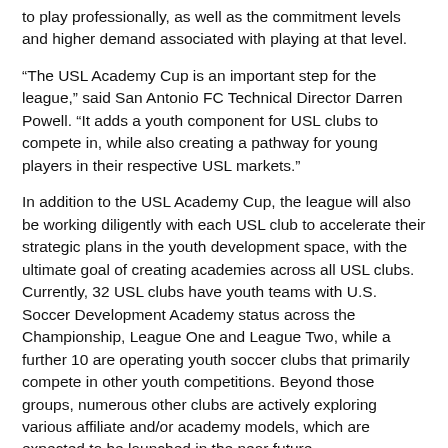to play professionally, as well as the commitment levels and higher demand associated with playing at that level.
“The USL Academy Cup is an important step for the league,” said San Antonio FC Technical Director Darren Powell. “It adds a youth component for USL clubs to compete in, while also creating a pathway for young players in their respective USL markets.”
In addition to the USL Academy Cup, the league will also be working diligently with each USL club to accelerate their strategic plans in the youth development space, with the ultimate goal of creating academies across all USL clubs. Currently, 32 USL clubs have youth teams with U.S. Soccer Development Academy status across the Championship, League One and League Two, while a further 10 are operating youth soccer clubs that primarily compete in other youth competitions. Beyond those groups, numerous other clubs are actively exploring various affiliate and/or academy models, which are expected to be launched in the near future.
As this infrastructure continues to grow and strengthen, the USL will look to expand and refine the cup competition into a true pre-professional academy league model that can span across the